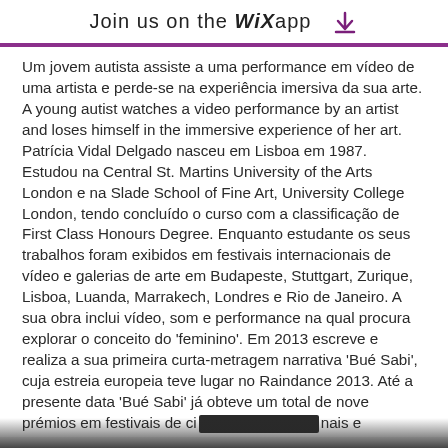Join us on the WiX app ↓
Um jovem autista assiste a uma performance em vídeo de uma artista e perde-se na experiência imersiva da sua arte. A young autist watches a video performance by an artist and loses himself in the immersive experience of her art.
Patrícia Vidal Delgado nasceu em Lisboa em 1987. Estudou na Central St. Martins University of the Arts London e na Slade School of Fine Art, University College London, tendo concluído o curso com a classificação de First Class Honours Degree. Enquanto estudante os seus trabalhos foram exibidos em festivais internacionais de vídeo e galerias de arte em Budapeste, Stuttgart, Zurique, Lisboa, Luanda, Marrakech, Londres e Rio de Janeiro. A sua obra inclui vídeo, som e performance na qual procura explorar o conceito do 'feminino'. Em 2013 escreve e realiza a sua primeira curta-metragem narrativa 'Bué Sabi', cuja estreia europeia teve lugar no Raindance 2013. Até a presente data 'Bué Sabi' já obteve um total de nove prémios em festivais de cinema internacionais e